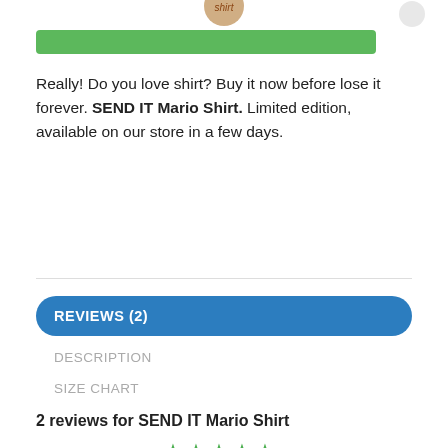[Figure (other): Partial logo image with text 'shirt' in cursive at top center, green button below it, and a circular button on the right]
Really! Do you love shirt? Buy it now before lose it forever. SEND IT Mario Shirt. Limited edition, available on our store in a few days.
REVIEWS (2)
DESCRIPTION
SIZE CHART
2 reviews for SEND IT Mario Shirt
[Figure (other): Five green star rating icons (partially visible at bottom)]